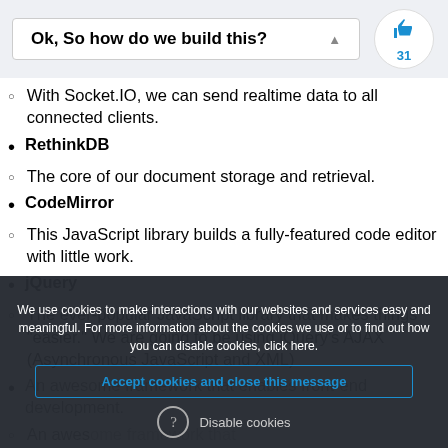Ok, So how do we build this?
With Socket.IO, we can send realtime data to all connected clients.
RethinkDB
The core of our document storage and retrieval.
CodeMirror
This JavaScript library builds a fully-featured code editor with little work.
jQuery
The ever-popular JavaScript library that makes things "easier." We are going to be using jQuery's AJAX (Asynchronous JavaScript and XML)
An awesome framework that enables front-end development.
We use cookies to make interactions with our websites and services easy and meaningful. For more information about the cookies we use or to find out how you can disable cookies, click here.
Accept cookies and close this message
Disable cookies